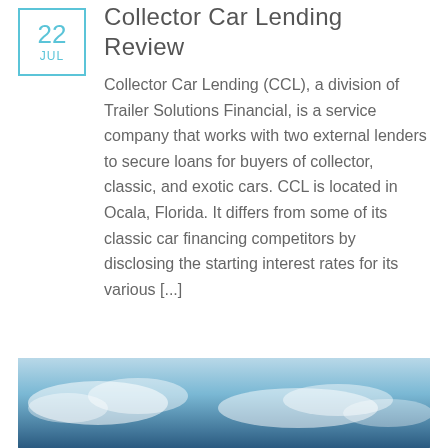Collector Car Lending Review
Collector Car Lending (CCL), a division of Trailer Solutions Financial, is a service company that works with two external lenders to secure loans for buyers of collector, classic, and exotic cars. CCL is located in Ocala, Florida. It differs from some of its classic car financing competitors by disclosing the starting interest rates for its various [...]
Posted in: AUTO LOANS
[Figure (photo): Sky with clouds photograph at the bottom of the page]